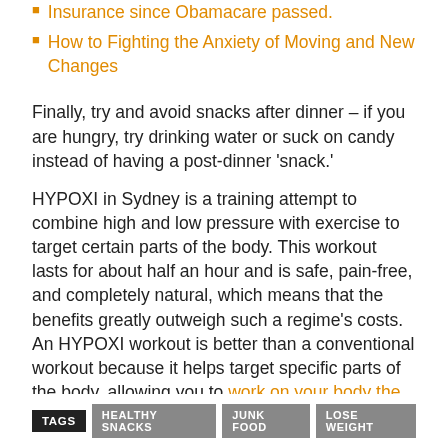Insurance since Obamacare passed.
How to Fighting the Anxiety of Moving and New Changes
Finally, try and avoid snacks after dinner – if you are hungry, try drinking water or suck on candy instead of having a post-dinner 'snack.'
HYPOXI in Sydney is a training attempt to combine high and low pressure with exercise to target certain parts of the body. This workout lasts for about half an hour and is safe, pain-free, and completely natural, which means that the benefits greatly outweigh such a regime's costs. An HYPOXI workout is better than a conventional workout because it helps target specific parts of the body, allowing you to work on your body the way you want.
TAGS  HEALTHY SNACKS  JUNK FOOD  LOSE WEIGHT